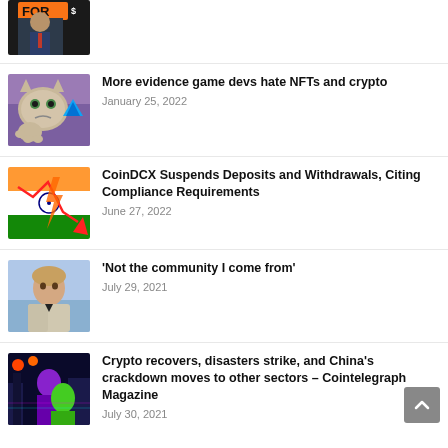[Partial article with man in suit image, cut off at top]
More evidence game devs hate NFTs and crypto — January 25, 2022
CoinDCX Suspends Deposits and Withdrawals, Citing Compliance Requirements — June 27, 2022
'Not the community I come from' — July 29, 2021
Crypto recovers, disasters strike, and China's crackdown moves to other sectors – Cointelegraph Magazine — July 30, 2021